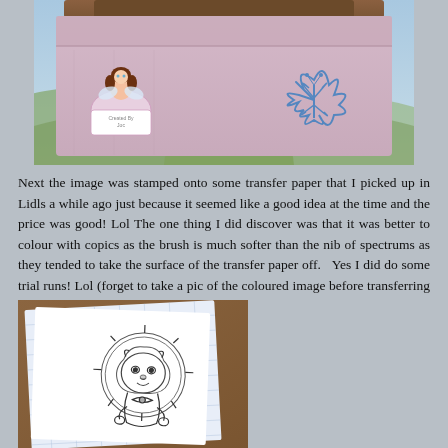[Figure (photo): Photo of a pink/lavender fabric bag with a small cartoon fairy sticker (Created By Joc) and a blue butterfly drawing on the fabric]
Next the image was stamped onto some transfer paper that I picked up in Lidls a while ago just because it seemed like a good idea at the time and the price was good! Lol The one thing I did discover was that it was better to colour with copics as the brush is much softer than the nib of spectrums as they tended to take the surface of the transfer paper off.   Yes I did do some trial runs! Lol (forget to take a pic of the coloured image before transferring it!)
[Figure (photo): Photo of transfer paper with a stamped outline drawing of a lion cub character, showing the paper on a brown surface with grid lines visible]